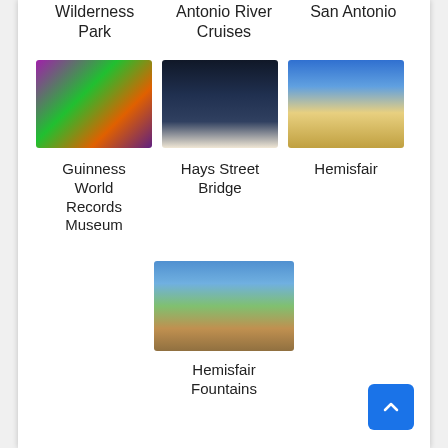Wilderness Park
Antonio River Cruises
San Antonio
[Figure (photo): Colorful interior of Guinness World Records Museum]
[Figure (photo): Night photo of Hays Street Bridge with lights]
[Figure (photo): Tall structure at Hemisfair against blue sky]
Guinness World Records Museum
Hays Street Bridge
Hemisfair
[Figure (photo): Outdoor nature scene at Hemisfair Fountains with water, trees and sandy bank]
Hemisfair Fountains